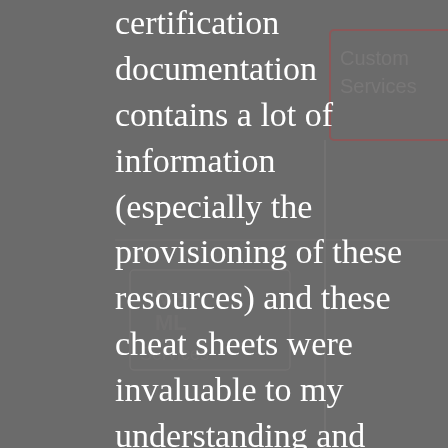[Figure (other): Background diagram partially visible showing boxes/labels including 'Customer Services', 'MS ML Services' — a faded flowchart or architecture diagram overlaid behind the main text.]
certification documentation contains a lot of information (especially the provisioning of these resources) and these cheat sheets were invaluable to my understanding and passing the exam with flying colours. I created them with diagram.net (or